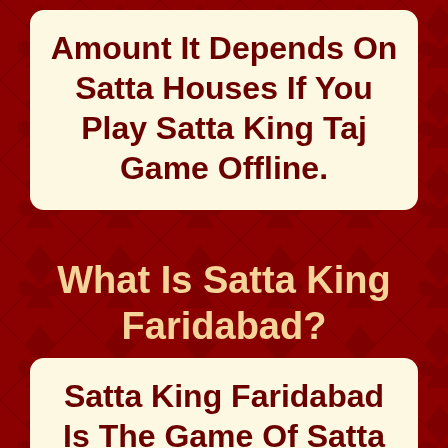Amount It Depends On Satta Houses If You Play Satta King Taj Game Offline.
What Is Satta King Faridabad?
Satta King Faridabad Is The Game Of Satta King